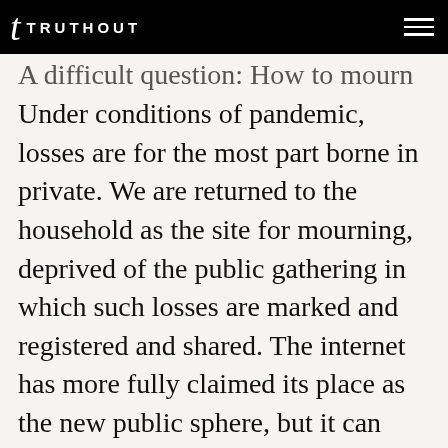TRUTHOUT
A difficult question: How to mourn mass death. Under conditions of pandemic, losses are for the most part borne in private. We are returned to the household as the site for mourning, deprived of the public gathering in which such losses are marked and registered and shared. The internet has more fully claimed its place as the new public sphere, but it can never fully substitute for the gatherings, both private and public, that allow losses to be fathomed and lived through with others.